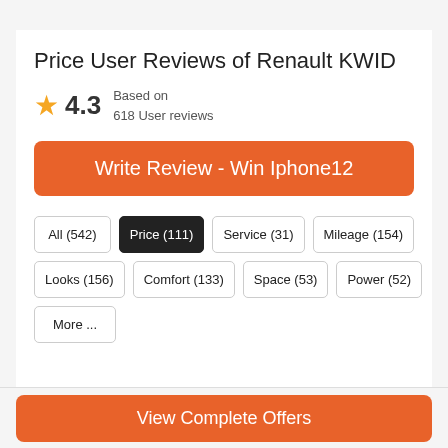Price User Reviews of Renault KWID
★ 4.3  Based on 618 User reviews
Write Review - Win Iphone12
All (542)
Price (111)
Service (31)
Mileage (154)
Looks (156)
Comfort (133)
Space (53)
Power (52)
More ...
View Complete Offers